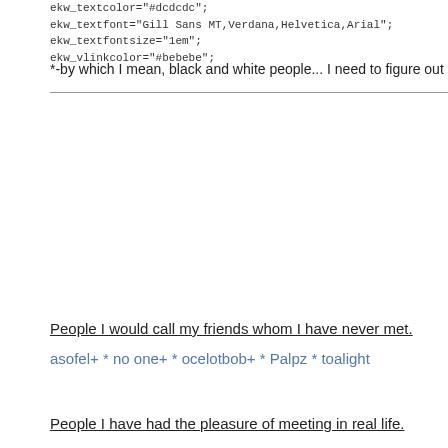ekw_textcolor="#dcdcdc";
ekw_textfont="Gill Sans MT,Verdana,Helvetica,Arial";
ekw_textfontsize="1em";
ekw_vlinkcolor="#bebebe";
*-by which I mean, black and white people... I need to figure out where the yellow
People I would call my friends whom I have never met.
asofel+ * no one+ * ocelotbob+ * Palpz * toalight
People I have had the pleasure of meeting in real life.